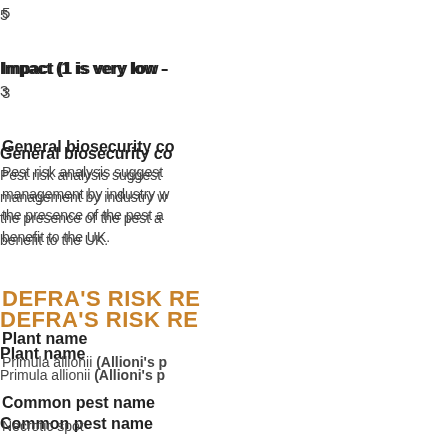5
Impact (1 is very low -
3
General biosecurity co
Pest risk analysis suggests management by industry w the presence of the pest a benefit to the UK.
DEFRA'S RISK RE
Plant name
Primula allionii (Allioni's p
Common pest name
Necrotic spot
Scientific pest name
Impatiens necrotic spot vi
Type
Virus or Viroid
Current status in UK
Present (Widespread)
Likelihood to spread i